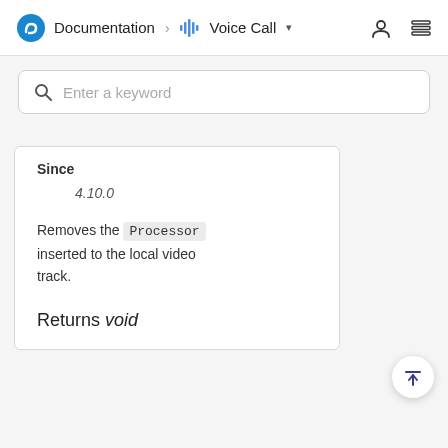Documentation > Voice Call
Since
4.10.0
Removes the Processor inserted to the local video track.
Returns void